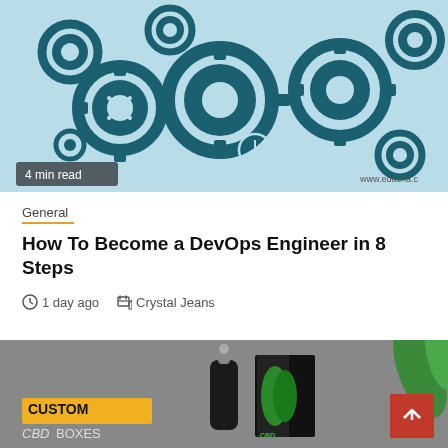[Figure (illustration): DevOps gears illustration with technology icons on light blue background, watermark 'www.educha.c' bottom right, '4 min read' badge bottom left]
General
How To Become a DevOps Engineer in 8 Steps
1 day ago   Crystal Jeans
[Figure (photo): Custom CBD Boxes advertisement showing a dark bottle with dropper and black product box with green leaf design on gray background, red scroll-to-top button on right]